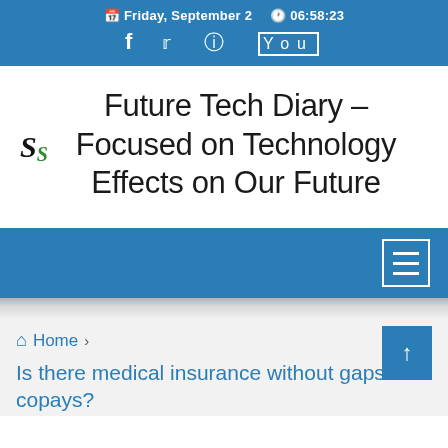Friday, September 2  06:58:23
Future Tech Diary – Focused on Technology Effects on Our Future
Home › Is there medical insurance without gaps and copays?